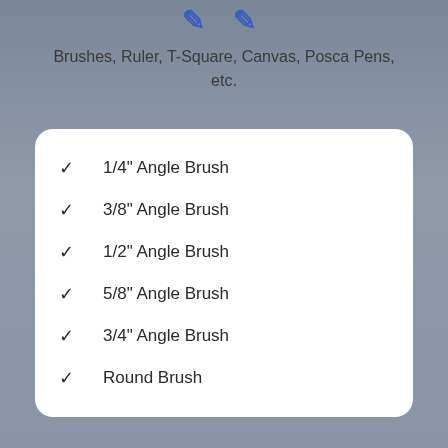Brushes, Ruler, T-Square, Canvas, Posca Pens, etc.
1/4" Angle Brush
3/8" Angle Brush
1/2" Angle Brush
5/8" Angle Brush
3/4" Angle Brush
Round Brush